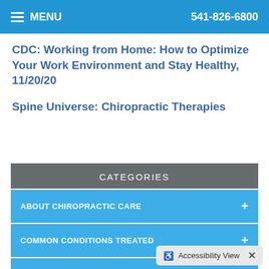MENU  541-826-6800
CDC: Working from Home: How to Optimize Your Work Environment and Stay Healthy, 11/20/20
Spine Universe: Chiropractic Therapies
CATEGORIES
ABOUT CHIROPRACTIC CARE
COMMON CONDITIONS TREATED
HEALTH & WELLNESS
THERAPIES & TECHNIQUES